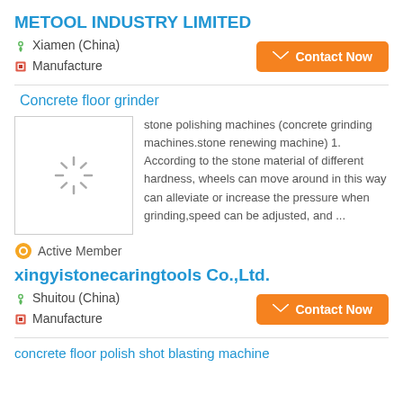METOOL INDUSTRY LIMITED
Xiamen (China)
Manufacture
[Figure (screenshot): Orange Contact Now button with envelope icon]
Concrete floor grinder
[Figure (photo): Loading spinner image placeholder inside a bordered box]
stone polishing machines (concrete grinding machines.stone renewing machine) 1. According to the stone material of different hardness, wheels can move around in this way can alleviate or increase the pressure when grinding,speed can be adjusted, and ...
Active Member
xingyistonecaringtools Co.,Ltd.
Shuitou (China)
Manufacture
[Figure (screenshot): Orange Contact Now button with envelope icon]
concrete floor polish shot blasting machine